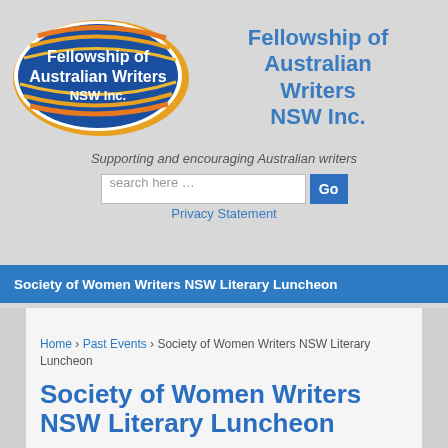[Figure (logo): Fellowship of Australian Writers NSW Inc. logo — blue oval with white text and orange/gold swoosh lines]
Fellowship of Australian Writers NSW Inc.
Supporting and encouraging Australian writers
search here …
Privacy Statement
Society of Women Writers NSW Literary Luncheon
Home › Past Events › Society of Women Writers NSW Literary Luncheon
Society of Women Writers NSW Literary Luncheon